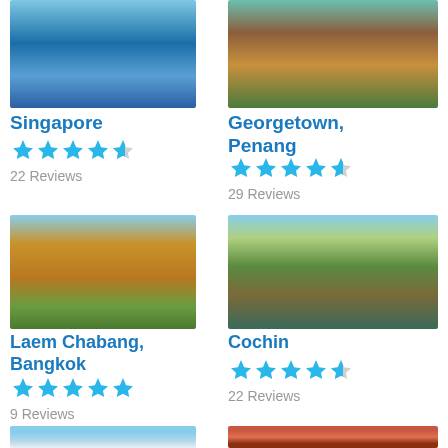[Figure (photo): Singapore city skyline with iconic dome architecture and waterfront]
Singapore
4.5 stars, 22 Reviews
[Figure (photo): Georgetown Penang temple with pagoda and ornate architecture]
Georgetown, Penang
4.5 stars, 29 Reviews
[Figure (photo): Laem Chabang Bangkok temple with golden stupas and green trees]
Laem Chabang, Bangkok
5 stars, 9 Reviews
[Figure (photo): Cochin Kerala backwaters with houseboat among palm trees]
Cochin
4.5 stars, 22 Reviews
[Figure (photo): Partial image at bottom left, sky and landscape]
[Figure (photo): Partial image at bottom right, reddish tones]